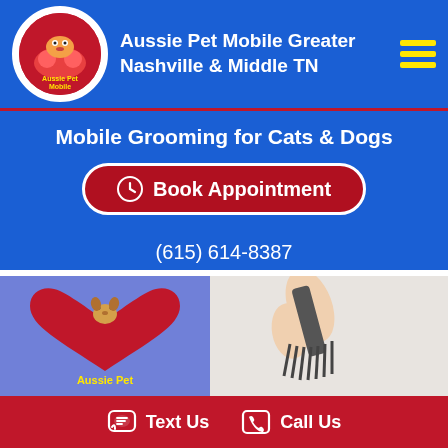Aussie Pet Mobile Greater Nashville & Middle TN
Mobile Grooming for Cats & Dogs
Book Appointment
(615) 614-8387
Help Aussie! My Pet is Covered with Mats!
[Figure (photo): Aussie Pet Mobile logo on blue background (left) and a hand holding a metal grooming comb/mat tool on light background (right)]
Text Us   Call Us